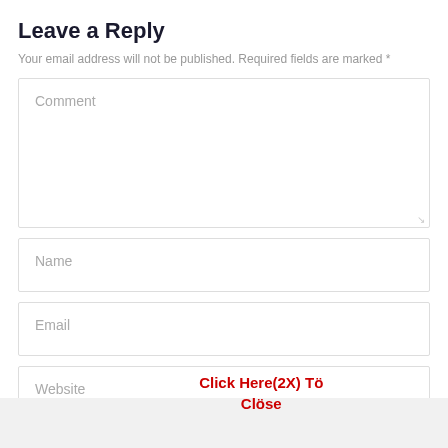Leave a Reply
Your email address will not be published. Required fields are marked *
Comment
Name
Email
Website
Click Here(2X) Tö Clöse